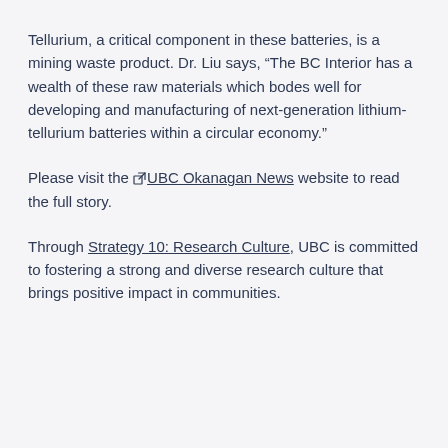Tellurium, a critical component in these batteries, is a mining waste product. Dr. Liu says, “The BC Interior has a wealth of these raw materials which bodes well for developing and manufacturing of next-generation lithium-tellurium batteries within a circular economy.”
Please visit the UBC Okanagan News website to read the full story.
Through Strategy 10: Research Culture, UBC is committed to fostering a strong and diverse research culture that brings positive impact in communities.